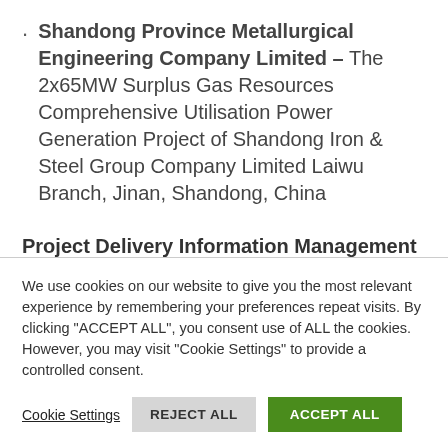Shandong Province Metallurgical Engineering Company Limited – The 2x65MW Surplus Gas Resources Comprehensive Utilisation Power Generation Project of Shandong Iron & Steel Group Company Limited Laiwu Branch, Jinan, Shandong, China
Project Delivery Information Management
Mott MacDonald Systra JV with Balfour Beatty
We use cookies on our website to give you the most relevant experience by remembering your preferences repeat visits. By clicking "ACCEPT ALL", you consent use of ALL the cookies. However, you may visit "Cookie Settings" to provide a controlled consent.